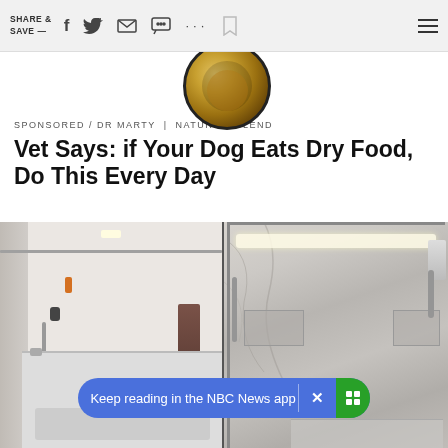SHARE & SAVE —
[Figure (photo): Circular food/dog bowl image at top center]
SPONSORED / DR MARTY | NATURE'S BLEND
Vet Says: if Your Dog Eats Dry Food, Do This Every Day
[Figure (photo): Before and after bathroom renovation: left shows old bathtub with curtain, right shows new marble shower enclosure]
Keep reading in the NBC News app